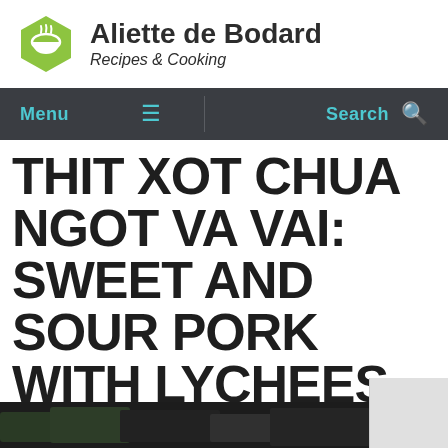Aliette de Bodard — Recipes & Cooking
THIT XOT CHUA NGOT VA VAI: SWEET AND SOUR PORK WITH LYCHEES
A nice and sweet rich dish.
[Figure (photo): Bottom strip showing food photo (dark background, partially visible)]